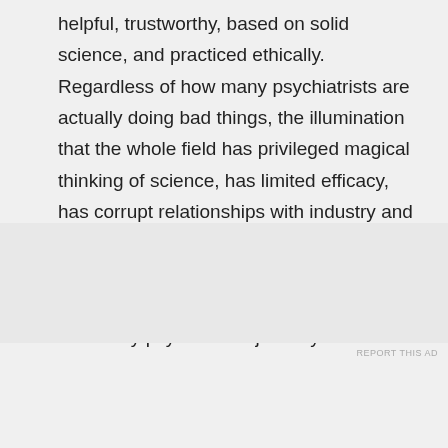helpful, trustworthy, based on solid science, and practiced ethically. Regardless of how many psychiatrists are actually doing bad things, the illumination that the whole field has privileged magical thinking of science, has limited efficacy, has corrupt relationships with industry and academia,and has the power to coerce patients and then justify that power by exploiting someone's desire to get help. I see many psychiatrists just say to
Advertisements